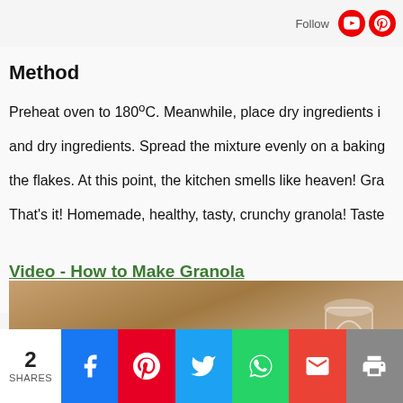Follow
Method
Preheat oven to 180ºC. Meanwhile, place dry ingredients i... and dry ingredients. Spread the mixture evenly on a baking... the flakes. At this point, the kitchen smells like heaven! Gra...
That's it! Homemade, healthy, tasty, crunchy granola! Taste
Video - How to Make Granola
[Figure (screenshot): Video thumbnail showing the word 'Come' in white bold text on a wooden background with a jar]
2 SHARES | Facebook | Pinterest | Twitter | WhatsApp | Gmail | Print